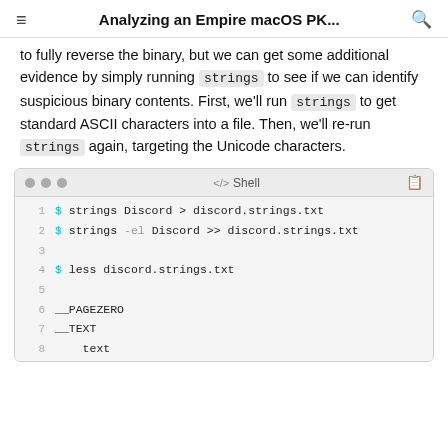≡  Analyzing an Empire macOS PK...  🔍
to fully reverse the binary, but we can get some additional evidence by simply running strings to see if we can identify suspicious binary contents. First, we'll run strings to get standard ASCII characters into a file. Then, we'll re-run strings again, targeting the Unicode characters.
[Figure (screenshot): Shell code block with traffic light dots, Shell label, and clipboard icon. Lines: 1: $ strings Discord > discord.strings.txt, 2: $ strings -el Discord >> discord.strings.txt, 3: (empty), 4: $ less discord.strings.txt, 5: (empty), 6: __PAGEZERO, 7: __TEXT, 8: text (partially visible)]